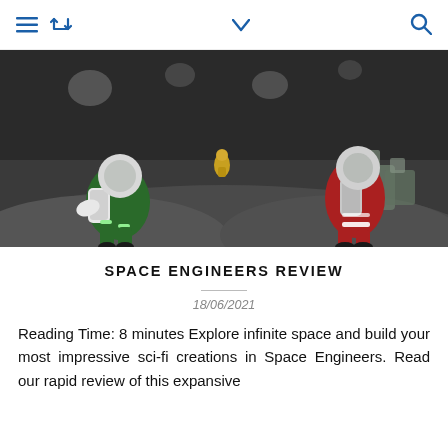≡ ↩ ∨ 🔍
[Figure (illustration): 3D rendered scene of astronauts in space suits on a rocky asteroid surface. A green-suited astronaut on the left, a yellow astronaut in the background center, and a red-suited astronaut on the right. Debris and spacecraft parts visible in background.]
SPACE ENGINEERS REVIEW
18/06/2021
Reading Time: 8 minutes Explore infinite space and build your most impressive sci-fi creations in Space Engineers. Read our rapid review of this expansive sandbox game, with...